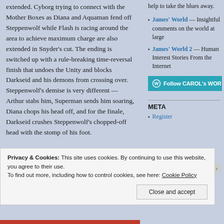extended. Cyborg trying to connect with the Mother Boxes as Diana and Aquaman fend off Steppenwolf while Flash is racing around the area to achieve maximum charge are also extended in Snyder's cut. The ending is switched up with a rule-breaking time-reversal finish that undoes the Unity and blocks Darkseid and his demons from crossing over. Steppenwolf's demise is very different — Arthur stabs him, Superman sends him soaring, Diana chops his head off, and for the finale, Darkseid crushes Steppenwolf's chopped-off head with the stomp of his foot.
help to take the blues away.
James' World — Insightful comments on the world at large
James' World 2 — Human Interest Stories From the Internet
[Figure (other): Follow CAROL's WOR button in teal]
META
Register
Privacy & Cookies: This site uses cookies. By continuing to use this website, you agree to their use. To find out more, including how to control cookies, see here: Cookie Policy
Close and accept